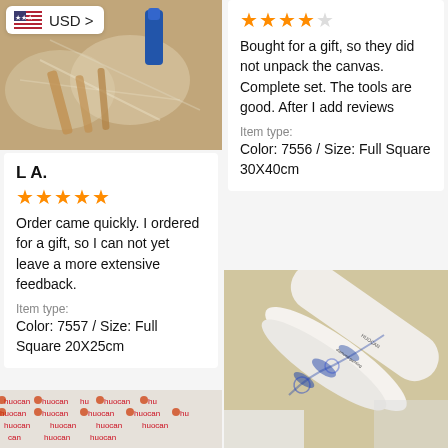[Figure (photo): Photo of art supplies/painting tools in plastic wrapping with a blue cap pen visible, with a USD currency selector badge overlay]
USD >
L A.
★★★★★
Order came quickly. I ordered for a gift, so I can not yet leave a more extensive feedback.
Item type:
Color: 7557 / Size: Full Square 20X25cm
★★★★☆
Bought for a gift, so they did not unpack the canvas. Complete set. The tools are good. After I add reviews
Item type:
Color: 7556 / Size: Full Square 30X40cm
[Figure (photo): Photo of plastic packaging with repeated Huocan brand logos in red text and orange circle icons on white/grey plastic wrap]
[Figure (photo): Photo of a rolled canvas/tube with blue and white floral porcelain-style pattern on a wooden table surface with white plastic packaging visible]